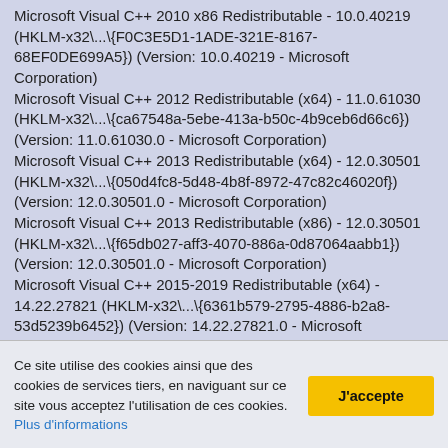Microsoft Visual C++ 2010 x86 Redistributable - 10.0.40219 (HKLM-x32\...\{F0C3E5D1-1ADE-321E-8167-68EF0DE699A5}) (Version: 10.0.40219 - Microsoft Corporation)
Microsoft Visual C++ 2012 Redistributable (x64) - 11.0.61030 (HKLM-x32\...\{ca67548a-5ebe-413a-b50c-4b9ceb6d66c6}) (Version: 11.0.61030.0 - Microsoft Corporation)
Microsoft Visual C++ 2013 Redistributable (x64) - 12.0.30501 (HKLM-x32\...\{050d4fc8-5d48-4b8f-8972-47c82c46020f}) (Version: 12.0.30501.0 - Microsoft Corporation)
Microsoft Visual C++ 2013 Redistributable (x86) - 12.0.30501 (HKLM-x32\...\{f65db027-aff3-4070-886a-0d87064aabb1}) (Version: 12.0.30501.0 - Microsoft Corporation)
Microsoft Visual C++ 2015-2019 Redistributable (x64) - 14.22.27821 (HKLM-x32\...\{6361b579-2795-4886-b2a8-53d5239b6452}) (Version: 14.22.27821.0 - Microsoft Corporation)
Microsoft Visual C++ 2015-2019 Redistributable (x86) - 14.22.27821 (HKLM-x32\...\{5bfc1380-fd35-4b85-9715-7351535d077e}) (Version: 14.22.27821.0 - Microsoft
Ce site utilise des cookies ainsi que des cookies de services tiers, en naviguant sur ce site vous acceptez l'utilisation de ces cookies. Plus d'informations